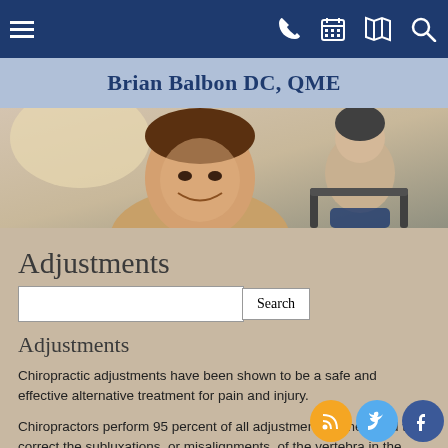Brian Balbon DC, QME — navigation bar with hamburger menu, phone, calendar, map, and search icons
Brian Balbon DC, QME
[Figure (photo): Hero image showing a smiling man in a gym setting with a woman on a treadmill in the background]
Adjustments
Search
Adjustments
Chiropractic adjustments have been shown to be a safe and effective alternative treatment for pain and injury.
Chiropractors perform 95 percent of all adjustments in the world to correct the subluxations, or misalignments, of the vertebra in the spine. Chiropractic adjustments are performed by applying gentle